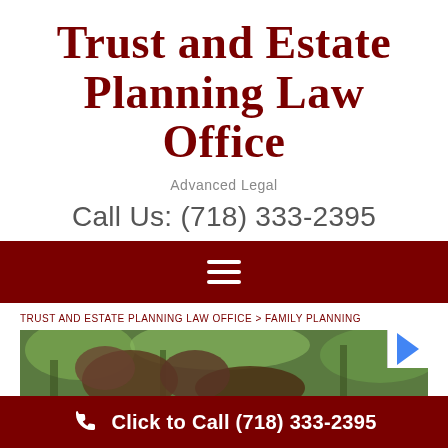Trust and Estate Planning Law Office
Advanced Legal
Call Us: (718) 333-2395
[Figure (infographic): Dark red navigation bar with hamburger menu icon (three white horizontal lines)]
TRUST AND ESTATE PLANNING LAW OFFICE > FAMILY PLANNING
[Figure (photo): Outdoor photo showing people's hands, trees with green foliage in background]
Click to Call (718) 333-2395